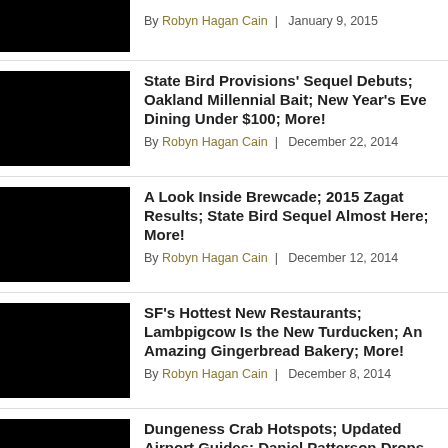By Robyn Hagan Cain | January 9, 2015
State Bird Provisions' Sequel Debuts; Oakland Millennial Bait; New Year's Eve Dining Under $100; More!
By Robyn Hagan Cain | December 22, 2014
A Look Inside Brewcade; 2015 Zagat Results; State Bird Sequel Almost Here; More!
By Robyn Hagan Cain | December 12, 2014
SF's Hottest New Restaurants; Lambpigcow Is the New Turducken; An Amazing Gingerbread Bakery; More!
By Robyn Hagan Cain | December 8, 2014
Dungeness Crab Hotspots; Updated Airport Guides; Daniel Patterson Drops Tipping; More!